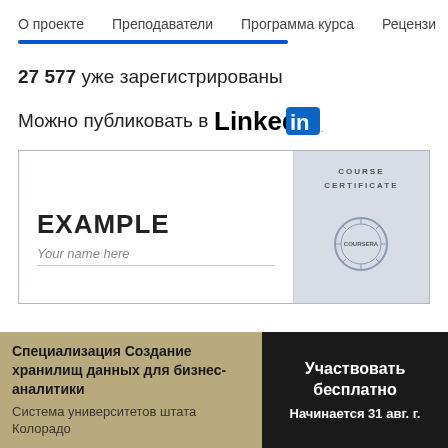О проекте   Преподаватели   Программа курса   Рецензи
27 577 уже зарегистрированы
Можно публиковать в LinkedIn
[Figure (illustration): Course certificate example image showing 'EXAMPLE / Your name here' on the left and 'COURSE CERTIFICATE' text with a seal on the right panel]
Специализация Создание хранилищ данных для бизнес-аналитики
Система университетов штата Колорадо
Участвовать бесплатно
Начинается 31 авг. г.